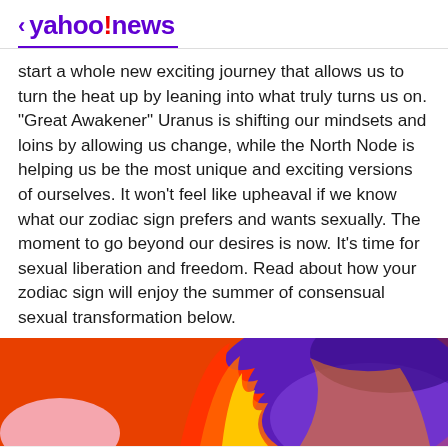< yahoo!news
start a whole new exciting journey that allows us to turn the heat up by leaning into what truly turns us on. “Great Awakener” Uranus is shifting our mindsets and loins by allowing us change, while the North Node is helping us be the most unique and exciting versions of ourselves. It won't feel like upheaval if we know what our zodiac sign prefers and wants sexually. The moment to go beyond our desires is now. It’s time for sexual liberation and freedom. Read about how your zodiac sign will enjoy the summer of consensual sexual transformation below.
[Figure (illustration): Colorful abstract illustration with purple, red, orange, yellow and pink shapes on an orange-red background, partially visible]
View comments